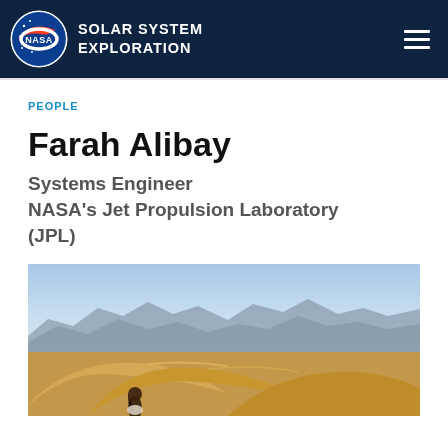NASA SOLAR SYSTEM EXPLORATION
PEOPLE
Farah Alibay
Systems Engineer
NASA's Jet Propulsion Laboratory (JPL)
[Figure (photo): Farah Alibay standing in front of desert sand dunes with mountains in the background under a blue sky]